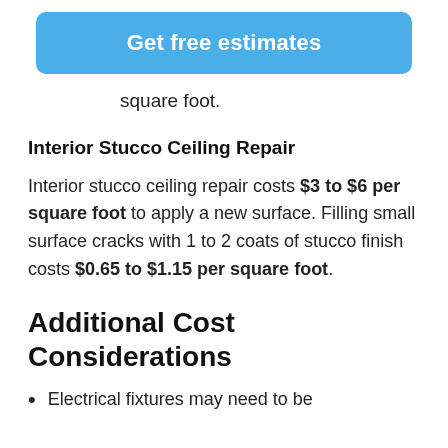[Figure (other): Blue rounded button with white text 'Get free estimates']
square foot.
Interior Stucco Ceiling Repair
Interior stucco ceiling repair costs $3 to $6 per square foot to apply a new surface. Filling small surface cracks with 1 to 2 coats of stucco finish costs $0.65 to $1.15 per square foot.
Additional Cost Considerations
Electrical fixtures may need to be